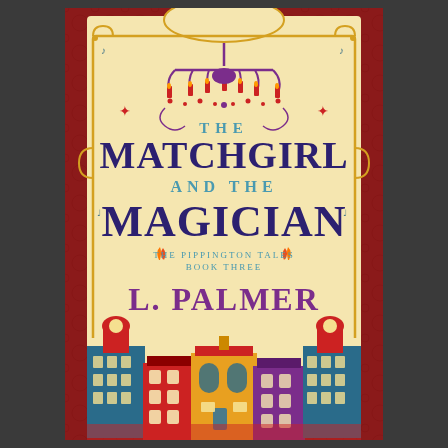[Figure (illustration): Book cover for 'The Matchgirl and the Magician' by L. Palmer, Book Three of The Pippington Tales. Dark red patterned background with a cream/parchment central panel featuring decorative scrollwork border. A purple chandelier with red candles hangs at the top. The title 'THE MATCHGIRL AND THE MAGICIAN' is displayed in teal and dark purple serif fonts. Below the main title is 'THE PIPPINGTON TALES BOOK THREE' in small teal text flanked by orange flame motifs. The author name 'L. PALMER' appears in large purple serif font. At the bottom is a colorful illustrated townscape of Victorian-style buildings in red, blue, yellow, and purple.]